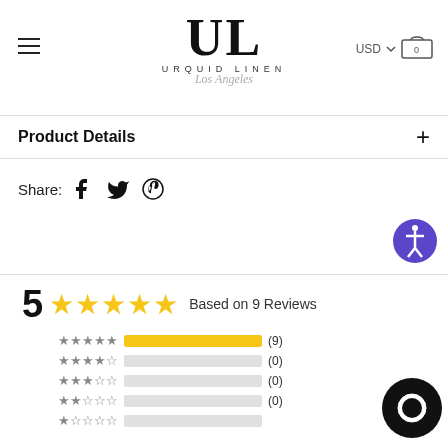[Figure (logo): Urquid Linen Los Angeles logo with large U and L letters]
Product Details
Share:
[Figure (infographic): 5 stars Based on 9 Reviews rating display with bar chart breakdown: 5-star (9), 4-star (0), 3-star (0), 2-star (0), 1-star (partial)]